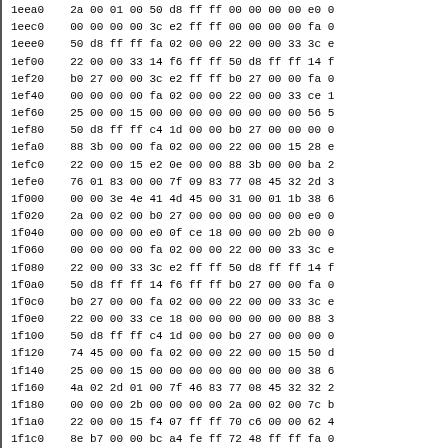| Address | Hex Data |
| --- | --- |
| 1eea0 | 2a 00 01 00 50 d8 ff ff 00 00 00 00 e0 0 |
| 1eec0 | 00 00 00 00 3c e2 ff ff 00 00 00 00 fa 0 |
| 1eee0 | 50 d8 ff ff fa 02 00 00 22 00 00 33 3c e |
| 1ef00 | 22 00 00 33 14 f6 ff ff 50 d8 ff ff 14 f |
| 1ef20 | b0 27 00 00 3c e2 ff ff b0 27 00 00 fa 0 |
| 1ef40 | 00 00 00 00 fa 02 00 00 22 00 00 33 ce 1 |
| 1ef60 | 25 00 00 15 00 00 00 00 00 00 00 00 56 5 |
| 1ef80 | 50 d8 ff ff c4 1d 00 00 b0 27 00 00 00 0 |
| 1efa0 | 88 3b 00 00 fa 02 00 00 22 00 00 15 28 e |
| 1efc0 | 22 00 00 15 e2 0e 00 00 88 3b 00 00 ba 2 |
| 1efe0 | 76 01 83 00 00 7f 09 83 77 08 45 32 2d 3 |
| 1f000 | 00 00 3e 4e 41 4d 45 00 31 00 01 1b 38 6 |
| 1f020 | 2a 00 02 00 b0 27 00 00 00 00 00 00 e0 0 |
| 1f040 | 00 00 00 00 e0 0f ce 18 00 00 00 2b 00 0 |
| 1f060 | 00 00 00 00 fa 02 00 00 22 00 00 33 3c e |
| 1f080 | 22 00 00 33 3c e2 ff ff 50 d8 ff ff 14 f |
| 1f0a0 | 50 d8 ff ff 14 f6 ff ff b0 27 00 00 fa 0 |
| 1f0c0 | b0 27 00 00 fa 02 00 00 22 00 00 33 3c e |
| 1f0e0 | 22 00 00 33 ce 18 00 00 00 00 00 00 88 3 |
| 1f100 | 50 d8 ff ff c4 1d 00 00 b0 27 00 00 00 0 |
| 1f120 | 74 45 00 00 fa 02 00 00 22 00 00 15 50 d |
| 1f140 | 25 00 00 15 00 00 00 00 00 00 00 00 38 6 |
| 1f160 | 4a 02 2d 01 00 7f 46 83 77 08 45 32 32 2 |
| 1f180 | 00 00 00 2b 00 00 00 00 2a 00 02 00 7c b |
| 1f1a0 | 22 00 00 15 f4 07 ff ff 70 c6 00 00 62 4 |
| 1f1c0 | 8e b7 00 00 bc a4 fe ff 72 48 ff ff fa 0 |
| 1f1e0 | 70 c6 00 00 fa 02 00 00 22 00 00 15 9e b |
| 1f200 | 22 00 00 15 58 d6 fe ff 8e b7 00 00 76 c |
| 1f220 | 8e b7 00 00 12 f9 fe ff 8e b7 00 00 fa 0 |
| 1f240 | 8e b7 00 00 fa 02 00 00 22 00 00 15 58 |